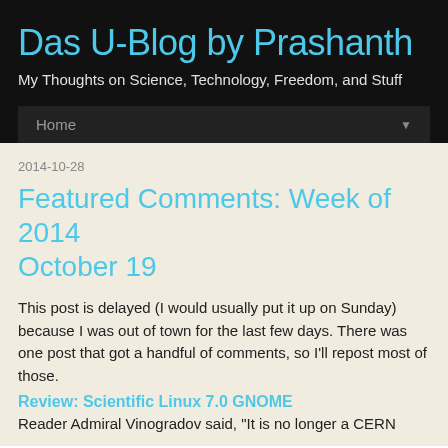Das U-Blog by Prashanth
My Thoughts on Science, Technology, Freedom, and Stuff
Home
2014-10-28
Featured Comments: Week of 2014 October 19
This post is delayed (I would usually put it up on Sunday) because I was out of town for the last few days. There was one post that got a handful of comments, so I'll repost most of those.
Review: Scientific Linux 7.0 GNOME
Reader Admiral Vinogradov said, "It is no longer a CERN